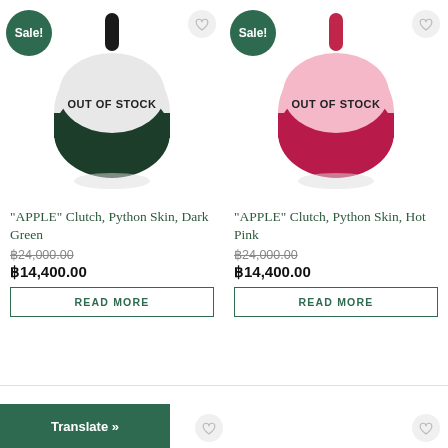[Figure (photo): Apple-shaped clutch bag in dark green python skin, shown out of stock, with Sale! badge]
OUT OF STOCK
“APPLE” Clutch, Python Skin, Dark Green
฿24,000.00 ฿14,400.00
READ MORE
[Figure (photo): Apple-shaped clutch bag in hot pink python skin, shown out of stock, with Sale! badge]
OUT OF STOCK
“APPLE” Clutch, Python Skin, Hot Pink
฿24,000.00 ฿14,400.00
READ MORE
Translate »